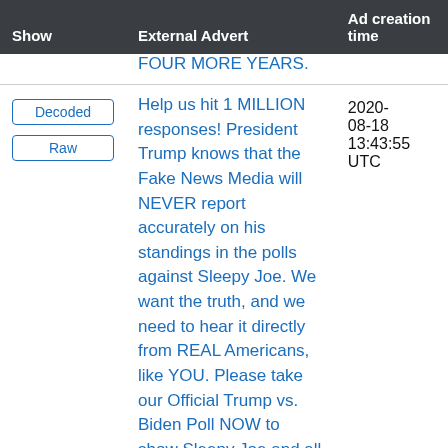| Show | External Advert | Ad creation time |
| --- | --- | --- |
|  | FOUR MORE YEARS. |  |
| Decoded / Raw | Help us hit 1 MILLION responses! President Trump knows that the Fake News Media will NEVER report accurately on his standings in the polls against Sleepy Joe. We want the truth, and we need to hear it directly from REAL Americans, like YOU. Please take our Official Trump vs. Biden Poll NOW to show Sleepy Joe and all of his big government socialist followers | 2020-08-18 13:43:55 UTC |